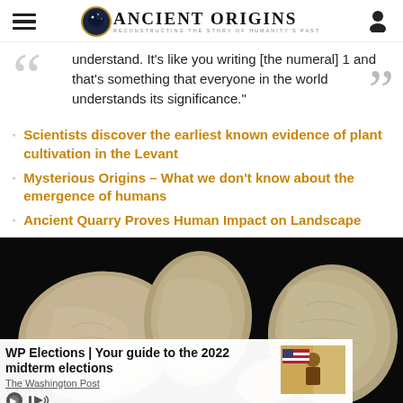Ancient Origins — Reconstructing the Story of Humanity's Past
understand. It's like you writing [the numeral] 1 and that's something that everyone in the world understands its significance."
Scientists discover the earliest known evidence of plant cultivation in the Levant
Mysterious Origins – What we don't know about the emergence of humans
Ancient Quarry Proves Human Impact on Landscape
[Figure (photo): Photograph of multiple stone flint artifacts on black background — ancient quarry stones shown from multiple angles]
WP Elections | Your guide to the 2022 midterm elections
The Washington Post